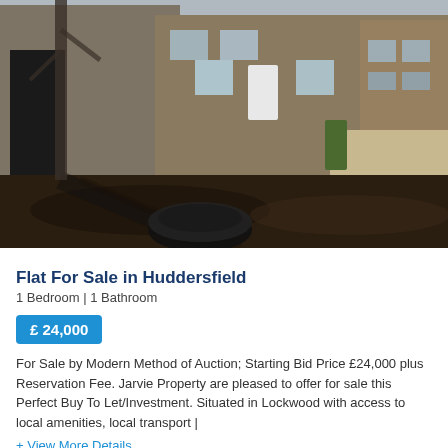[Figure (photo): Exterior photo of a stone terraced property in Huddersfield, showing the front garden area with dark soil/mulch, a large black planter, and brick/stone terraced houses in the background under winter conditions.]
Flat For Sale in Huddersfield
1 Bedroom | 1 Bathroom
£ 24,000
For Sale by Modern Method of Auction; Starting Bid Price £24,000 plus Reservation Fee. Jarvie Property are pleased to offer for sale this Perfect Buy To Let/Investment. Situated in Lockwood with access to local amenities, local transport |
+ View More Details